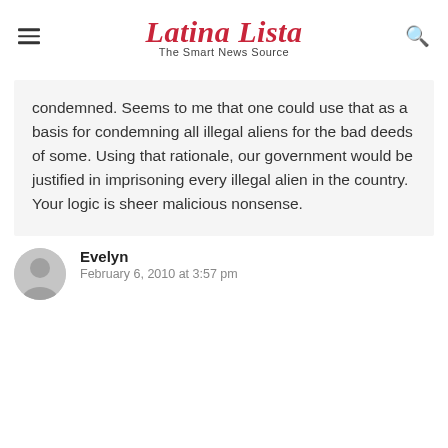Latina Lista — The Smart News Source
condemned. Seems to me that one could use that as a basis for condemning all illegal aliens for the bad deeds of some. Using that rationale, our government would be justified in imprisoning every illegal alien in the country. Your logic is sheer malicious nonsense.
Evelyn
February 6, 2010 at 3:57 pm